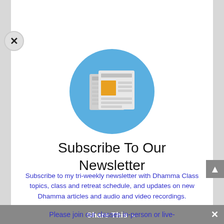effortlessly maintained in all situations. They are the
[Figure (illustration): Newsletter icon: white newspaper pages with orange rectangle accent on a blue circle background]
Subscribe To Our Newsletter
Subscribe to my tri-weekly newsletter with Dhamma Class topics, class and retreat schedule, and updates on new Dhamma articles and audio and video recordings.
Share This
Please join our classes in-person or live-